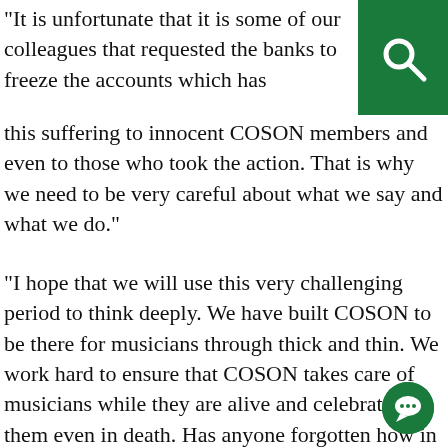[Figure (logo): Green square with white search magnifying glass icon in top-right corner]
“It is unfortunate that it is some of our colleagues that requested the banks to freeze the accounts which has brought this suffering to innocent COSON members and even to those who took the action. That is why we need to be very careful about what we say and what we do.”
“I hope that we will use this very challenging period to think deeply. We have built COSON to be there for musicians through thick and thin. We work hard to ensure that COSON takes care of musicians while they are alive and celebrates them even in death. Has anyone forgotten how in an unprecedented manner we buried the late Ras Kimono like a king?
Said the COSON Chairman, “Some people may think that because things are going well for them today, they will never need COSON. I have been in the industry long enough to know that they will one day need a referencing institution like